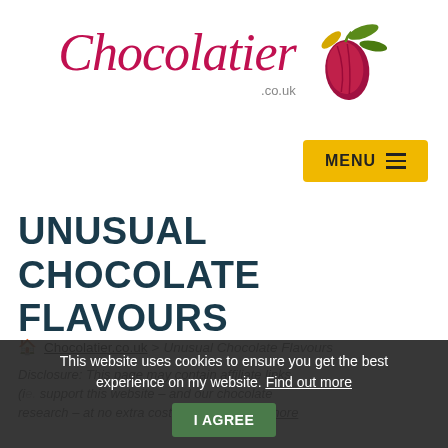[Figure (logo): Chocolatier.co.uk logo with cursive script text in crimson and a cocoa bean illustration with leaves in gold, red, and green]
[Figure (other): Yellow MENU button with hamburger icon in top right area]
UNUSUAL CHOCOLATE FLAVOURS
🏠 Chocolatier.co.uk > Unusual Chocolate Flavours
Disclosure: This page may contain affiliate links (ie. support this website – and our chocolate research – at no extra cost to you. Find out more
This website uses cookies to ensure you get the best experience on my website. Find out more | I AGREE